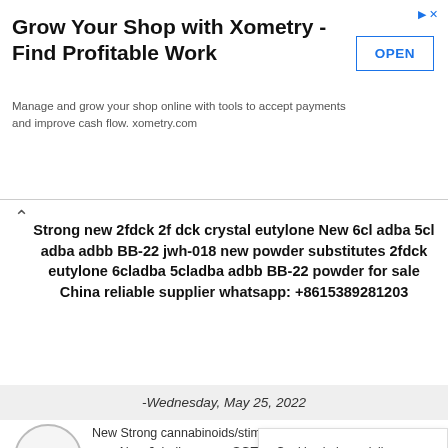[Figure (screenshot): Advertisement banner for Xometry with OPEN button]
Strong new 2fdck 2f dck crystal eutylone New 6cl adba 5cl adba adbb BB-22 jwh-018 new powder substitutes 2fdck eutylone 6cladba 5cladba adbb BB-22 powder for sale China reliable supplier whatsapp: +8615389281203
-Wednesday, May 25, 2022
New Strong cannabinoids/stimulants analogues, gr delivery to your New 6cladba n new SGT-151 New Eutylone New 2fdck New Deschioroetizolam Isotonitazene Cas 119276-01-6 Metonit
Cookies help us deliver our s using our services, you agree cookies.